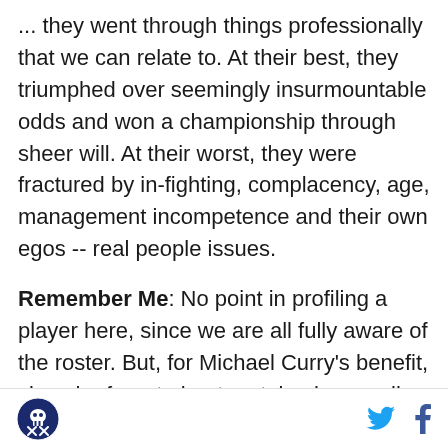... they went through things professionally that we can relate to. At their best, they triumphed over seemingly insurmountable odds and won a championship through sheer will. At their worst, they were fractured by in-fighting, complacency, age, management incompetence and their own egos -- real people issues.
Remember Me: No point in profiling a player here, since we are all fully aware of the roster. But, for Michael Curry's benefit, since he forgot about certain players all year, let's take a look back at his wonderful rotation highlights:
Amir Johnson started 24 games. He got DNP-CDs in
[logo] [twitter] [facebook]